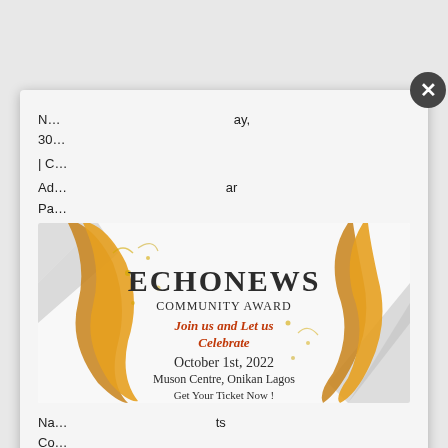N... ...ay, 30...
| C...
Ad... ...ar Pa...
[Figure (illustration): Echonews Community Award promotional banner with gold ribbons and confetti on white/grey background. Text: ECHONEWS COMMUNITY AWARD, Join us and Let us Celebrate, October 1st, 2022, Muson Centre, Onikan Lagos, Get Your Ticket Now!]
Na... ...ts Co...
Ec... ...ia Stadium, Benin| #EDUPEL
| GROUP B|